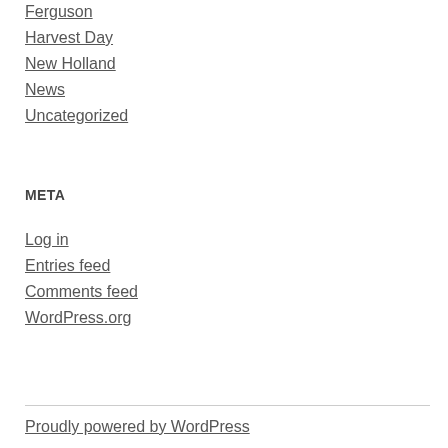Ferguson
Harvest Day
New Holland
News
Uncategorized
META
Log in
Entries feed
Comments feed
WordPress.org
Proudly powered by WordPress